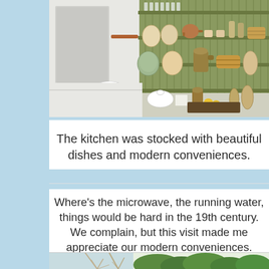[Figure (photo): A kitchen with wooden shelves stocked with dishes, plates, cups, and various crockery. A dresser/hutch with multiple shelves filled with dishware. A white sideboard below with serving dishes and fruits.]
The kitchen was stocked with beautiful di... conveniences.
Where's the microwave, the running water, th... be hard in the 19th century. We complain, bu... made me appreciate our modern...
[Figure (photo): Outdoor garden or landscape scene with green leafy shrubs and plants.]